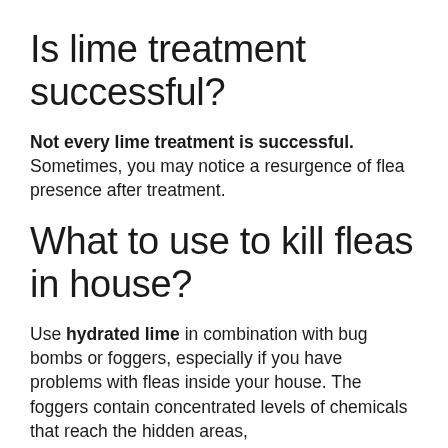Is lime treatment successful?
Not every lime treatment is successful. Sometimes, you may notice a resurgence of flea presence after treatment.
What to use to kill fleas in house?
Use hydrated lime in combination with bug bombs or foggers, especially if you have problems with fleas inside your house. The foggers contain concentrated levels of chemicals that reach the hidden areas,